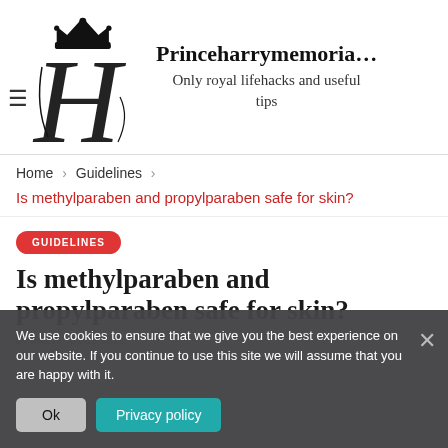[Figure (logo): Princeharrymemorial website logo: decorative cursive H with crown above, site name and tagline to the right]
Princeharrymemorial
Only royal lifehacks and useful tips
Home › Guidelines ›
Is methylparaben and propylparaben safe for skin?
GUIDELINES
Is methylparaben and propylparaben safe for skin?
We use cookies to ensure that we give you the best experience on our website. If you continue to use this site we will assume that you are happy with it.
Ok   Privacy policy